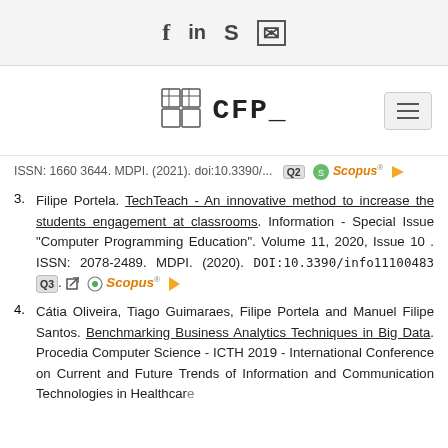Social icons: f, in, Skype, mail
[Figure (logo): CFP_ logo with grid/cube icon]
ISSN: ... MDPI. (2021). doi:10.3390/... Q2 Scopus
3. Filipe Portela. TechTeach - An innovative method to increase the students engagement at classrooms. Information - Special Issue "Computer Programming Education". Volume 11, 2020, Issue 10 . ISSN: 2078-2489. MDPI. (2020). DOI:10.3390/info11100483 Q3. Scopus
4. Cátia Oliveira, Tiago Guimaraes, Filipe Portela and Manuel Filipe Santos. Benchmarking Business Analytics Techniques in Big Data. Procedia Computer Science - ICTH 2019 - International Conference on Current and Future Trends of Information and Communication Technologies in Healthcare